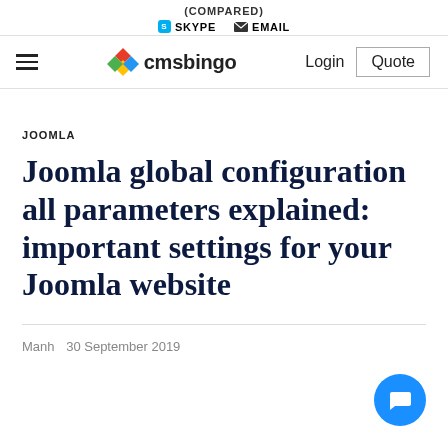(COMPARED)
SKYPE   EMAIL
cmsbingo   Login   Quote
JOOMLA
Joomla global configuration all parameters explained: important settings for your Joomla website
Manh   30 September 2019